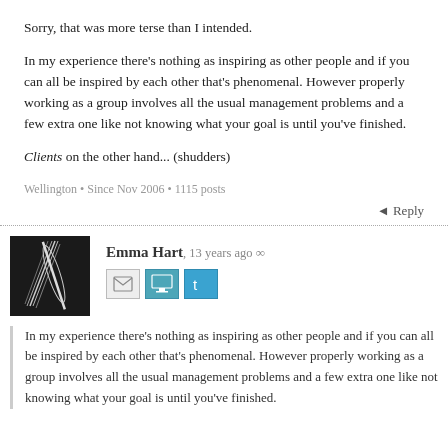Sorry, that was more terse than I intended.
In my experience there's nothing as inspiring as other people and if you can all be inspired by each other that's phenomenal. However properly working as a group involves all the usual management problems and a few extra one like not knowing what your goal is until you've finished.
Clients on the other hand... (shudders)
Wellington • Since Nov 2006 • 1115 posts
Reply
Emma Hart, 13 years ago ∞
[Figure (photo): Black and white avatar photo of a feather or quill]
In my experience there's nothing as inspiring as other people and if you can all be inspired by each other that's phenomenal. However properly working as a group involves all the usual management problems and a few extra one like not knowing what your goal is until you've finished.